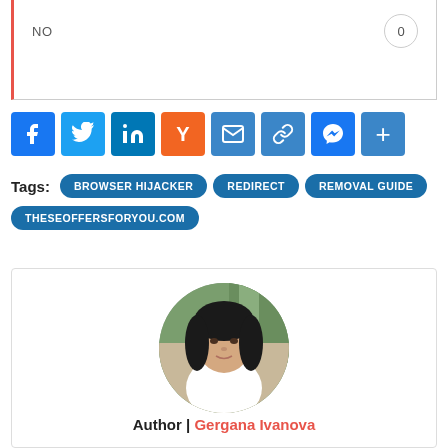| NO | 0 |
[Figure (infographic): Social sharing buttons row: Facebook, Twitter, LinkedIn, Yahoo, Email, Copy link, Messenger, More (+)]
Tags: BROWSER HIJACKER  REDIRECT  REMOVAL GUIDE  THESEOFFERSFORYOU.COM
[Figure (photo): Circular portrait photo of author Gergana Ivanova, a young woman with dark hair, wearing white, outdoors with trees in background]
Author | Gergana Ivanova